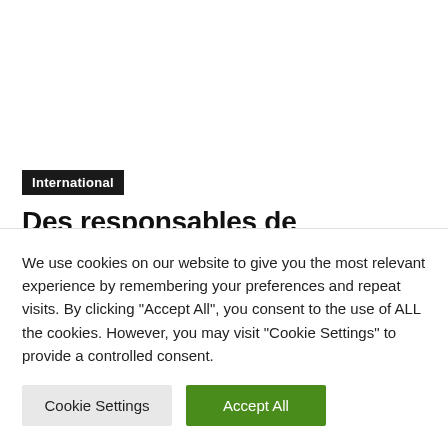International
Des responsables de l'éducation licenciés après une enquête sur une fusillade dans une école de Floride
We use cookies on our website to give you the most relevant experience by remembering your preferences and repeat visits. By clicking "Accept All", you consent to the use of ALL the cookies. However, you may visit "Cookie Settings" to provide a controlled consent.